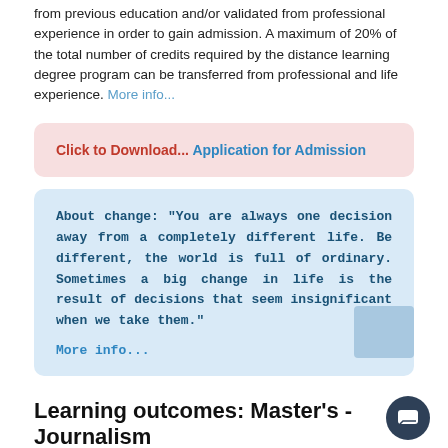from previous education and/or validated from professional experience in order to gain admission. A maximum of 20% of the total number of credits required by the distance learning degree program can be transferred from professional and life experience. More info...
Click to Download... Application for Admission
About change: "You are always one decision away from a completely different life. Be different, the world is full of ordinary. Sometimes a big change in life is the result of decisions that seem insignificant when we take them." More info...
Learning outcomes: Master's - Journalism
The following learning outcomes are compatible with the European Qualifications Framework (EQF) for lifelong learning and continuing